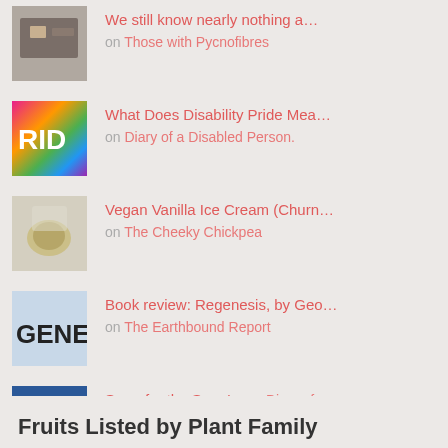We still know nearly nothing a... on Those with Pycnofibres
What Does Disability Pride Mea... on Diary of a Disabled Person.
Vegan Vanilla Ice Cream (Churn... on The Cheeky Chickpea
Book review: Regenesis, by Geo... on The Earthbound Report
Sorry for the Sorry's. on Diary of a Disabled Person.
June in Bloom on Suwannee Rose
Fruits Listed by Plant Family